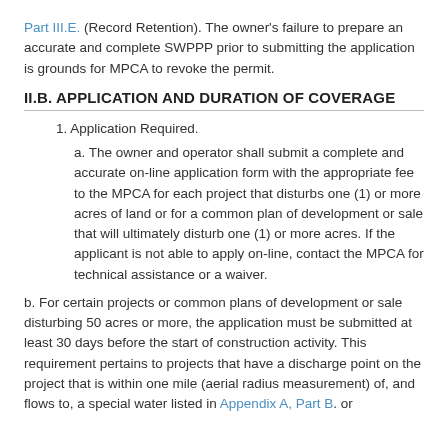Part III.E. (Record Retention). The owner's failure to prepare an accurate and complete SWPPP prior to submitting the application is grounds for MPCA to revoke the permit.
II.B. APPLICATION AND DURATION OF COVERAGE
1. Application Required.
a. The owner and operator shall submit a complete and accurate on-line application form with the appropriate fee to the MPCA for each project that disturbs one (1) or more acres of land or for a common plan of development or sale that will ultimately disturb one (1) or more acres. If the applicant is not able to apply on-line, contact the MPCA for technical assistance or a waiver.
b. For certain projects or common plans of development or sale disturbing 50 acres or more, the application must be submitted at least 30 days before the start of construction activity. This requirement pertains to projects that have a discharge point on the project that is within one mile (aerial radius measurement) of, and flows to, a special water listed in Appendix A, Part B. or